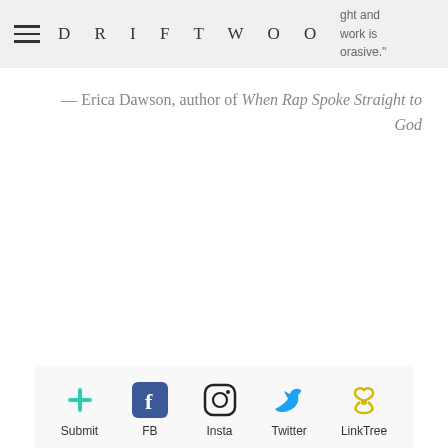DRIFTWOOD — navigation bar with hamburger menu and cart icon (0 items). Partial text visible top-right: 'ght and work is orasive.'
— Erica Dawson, author of When Rap Spoke Straight to God
Submit | FB | Insta | Twitter | LinkTree